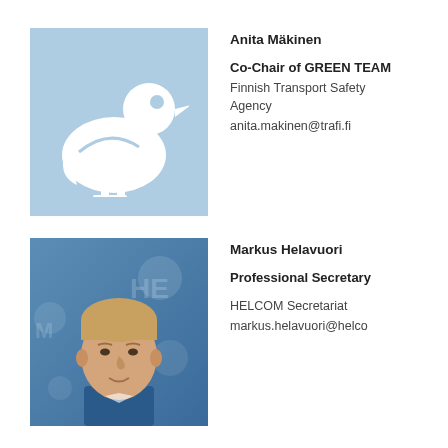[Figure (illustration): Light blue placeholder image with white duck/bird silhouette icon]
Anita Mäkinen
Co-Chair of GREEN TEAM
Finnish Transport Safety Agency
anita.makinen@trafi.fi
[Figure (photo): Photograph of Markus Helavuori, a man with short blond hair against a blue background]
Markus Helavuori
Professional Secretary

HELCOM Secretariat
markus.helavuori@helco